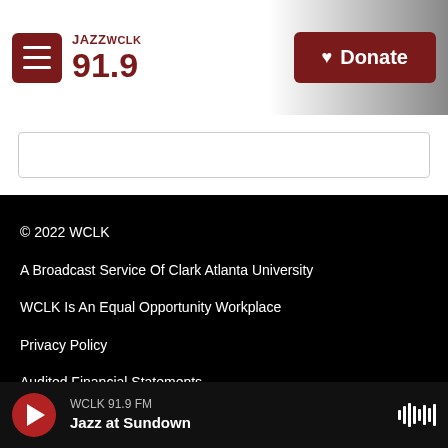JAZZ WCLK 91.9 — Donate
© 2022 WCLK
A Broadcast Service Of Clark Atlanta University
WCLK Is An Equal Opportunity Workplace
Privacy Policy
Audited Financial Statements
WCLK 91.9 FM
Jazz at Sundown